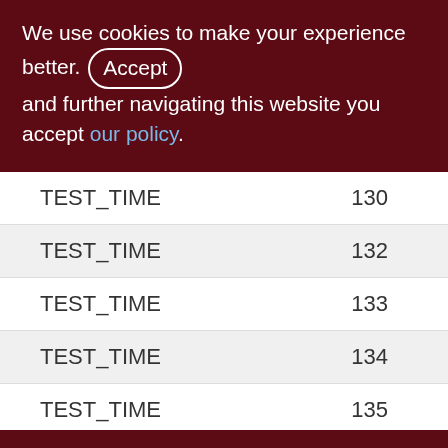We use cookies to make your experience better. By accepting and further navigating this website you accept our policy.
| Name | Value |
| --- | --- |
| TEST_TIME | 130 |
| TEST_TIME | 132 |
| TEST_TIME | 133 |
| TEST_TIME | 134 |
| TEST_TIME | 135 |
| TEST_TIME | 136 |
| TEST_TIME | 137 |
| TEST_TIME | 138 |